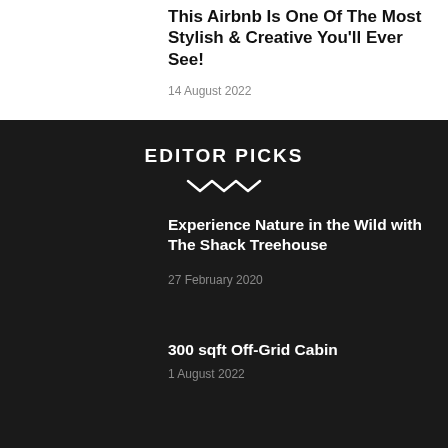This Airbnb Is One Of The Most Stylish & Creative You'll Ever See!
14 August 2022
EDITOR PICKS
Experience Nature in the Wild with The Shack Treehouse
27 February 2020
300 sqft Off-Grid Cabin
1 August 2022